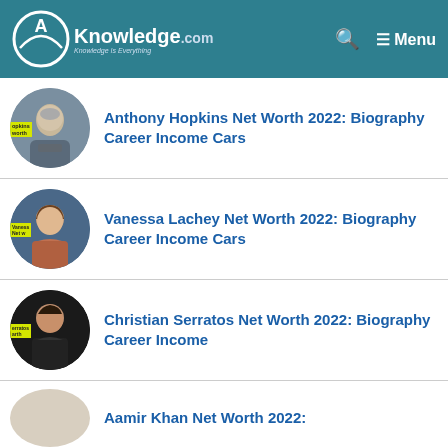AKnowledge.com — Knowledge Is Everything | Menu
Anthony Hopkins Net Worth 2022: Biography Career Income Cars
Vanessa Lachey Net Worth 2022: Biography Career Income Cars
Christian Serratos Net Worth 2022: Biography Career Income
Aamir Khan Net Worth 2022: